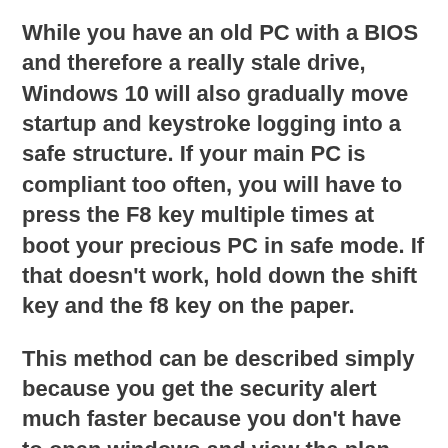While you have an old PC with a BIOS and therefore a really stale drive, Windows 10 will also gradually move startup and keystroke logging into a safe structure. If your main PC is compliant too often, you will have to press the F8 key multiple times at boot your precious PC in safe mode. If that doesn't work, hold down the shift key and the f8 key on the paper.
This method can be described simply because you get the security alert much faster because you don't have to open windows and view the plan right away.malicious